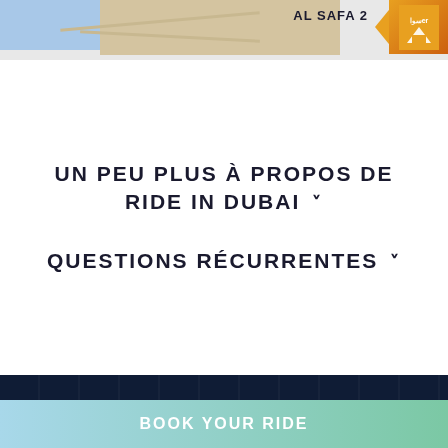[Figure (map): Map snippet showing AL SAFA 2 area with street layout, blue water area on left, and orange navigation logo/arrow on right]
UN PEU PLUS À PROPOS DE RIDE IN DUBAI ∨
QUESTIONS RÉCURRENTES ∨
ABOUT US
Ride in Dubai offers Jetski rental tours and Flyboard activity in Dubai Fishing Harbor. We offer
BOOK YOUR RIDE